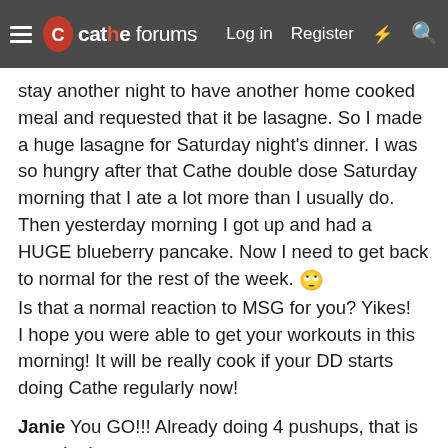cathe forums  Log in  Register
stay another night to have another home cooked meal and requested that it be lasagne. So I made a huge lasagne for Saturday night's dinner. I was so hungry after that Cathe double dose Saturday morning that I ate a lot more than I usually do. Then yesterday morning I got up and had a HUGE blueberry pancake. Now I need to get back to normal for the rest of the week. 🙄
Is that a normal reaction to MSG for you? Yikes!
I hope you were able to get your workouts in this morning! It will be really cook if your DD starts doing Cathe regularly now!
Janie You GO!!! Already doing 4 pushups, that is amazing!
This morning was Body Max 2 for me and 26 pushups on my toes. I may have to throw in another quick cardio later today after the food fest over the weekend! I wasn't too happy with the scale this morning, even though I know I could not have really gained 3 pounds since Saturday?! 😕 We are supposed to get snow AGAIN today so looks like I'll be working at home. They